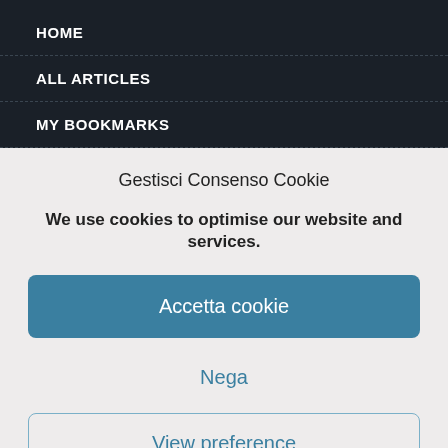HOME
ALL ARTICLES
MY BOOKMARKS
Gestisci Consenso Cookie
We use cookies to optimise our website and services.
Accetta cookie
Nega
View preference